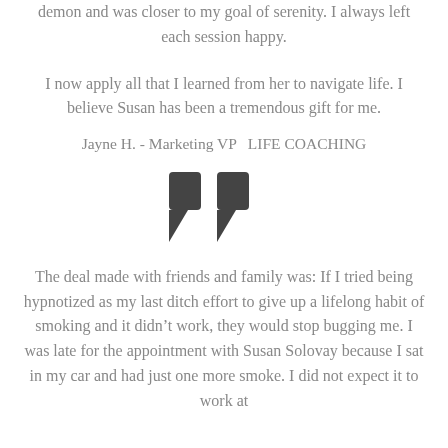demon and was closer to my goal of serenity. I always left each session happy.
I now apply all that I learned from her to navigate life. I believe Susan has been a tremendous gift for me.
Jayne H. - Marketing VP  LIFE COACHING
[Figure (illustration): Large closing quotation marks decorative symbol]
The deal made with friends and family was: If I tried being hypnotized as my last ditch effort to give up a lifelong habit of smoking and it didn't work, they would stop bugging me. I was late for the appointment with Susan Solovay because I sat in my car and had just one more smoke. I did not expect it to work at